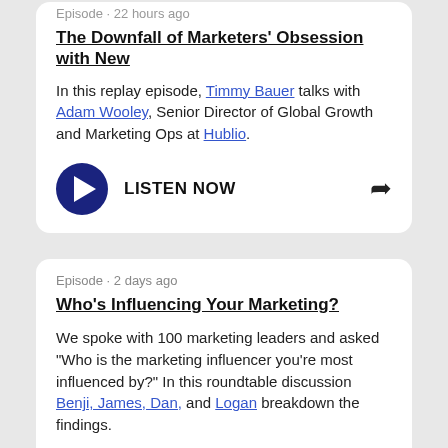Episode · 22 hours ago
The Downfall of Marketers' Obsession with New
In this replay episode, Timmy Bauer talks with Adam Wooley, Senior Director of Global Growth and Marketing Ops at Hublio.
LISTEN NOW
Episode · 2 days ago
Who's Influencing Your Marketing?
We spoke with 100 marketing leaders and asked "Who is the marketing influencer you're most influenced by?" In this roundtable discussion Benji, James, Dan, and Logan breakdown the findings.
Discussed in this episode: